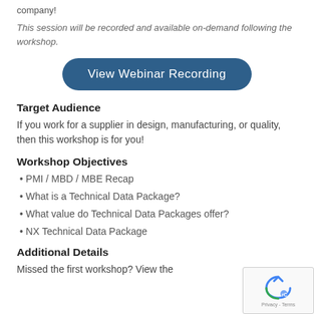company!
This session will be recorded and available on-demand following the workshop.
[Figure (other): Blue rounded button labeled 'View Webinar Recording']
Target Audience
If you work for a supplier in design, manufacturing, or quality, then this workshop is for you!
Workshop Objectives
• PMI / MBD / MBE Recap
• What is a Technical Data Package?
• What value do Technical Data Packages offer?
• NX Technical Data Package
Additional Details
Missed the first workshop? View the